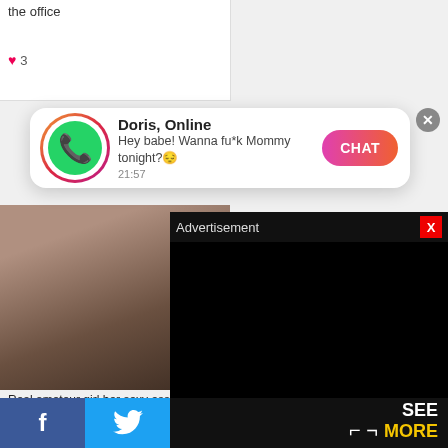the office
♥ 3
[Figure (screenshot): WhatsApp-style notification popup: green phone icon with Instagram-gradient border, sender name 'Doris, Online', message 'Hey babe! Wanna fu*k Mommy tonight?😔', timestamp '21:57', pink-orange CHAT button, X close button]
[Figure (photo): Explicit adult content image - truncated/partially visible]
Real amateur girl her sexy ass and breasts
♥ 1
[Figure (screenshot): Advertisement overlay - black rectangle with 'Advertisement' header text and red X close button, SEE MORE text at bottom right with yellow MORE]
f
Twitter bird icon